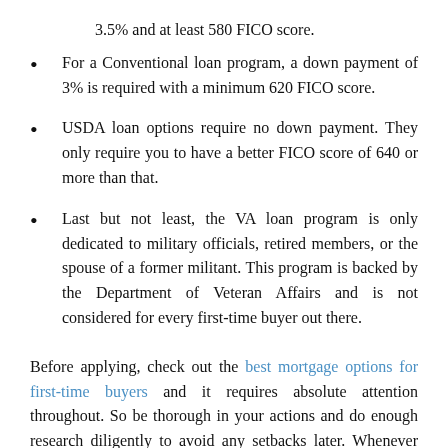3.5% and at least 580 FICO score.
For a Conventional loan program, a down payment of 3% is required with a minimum 620 FICO score.
USDA loan options require no down payment. They only require you to have a better FICO score of 640 or more than that.
Last but not least, the VA loan program is only dedicated to military officials, retired members, or the spouse of a former militant. This program is backed by the Department of Veteran Affairs and is not considered for every first-time buyer out there.
Before applying, check out the best mortgage options for first-time buyers and it requires absolute attention throughout. So be thorough in your actions and do enough research diligently to avoid any setbacks later. Whenever you